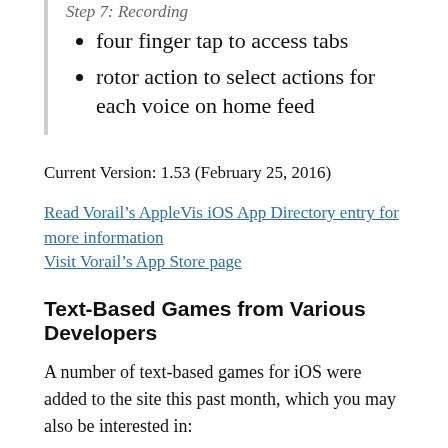four finger tap to access tabs
rotor action to select actions for each voice on home feed
Current Version: 1.53 (February 25, 2016)
Read Vorail's AppleVis iOS App Directory entry for more information
Visit Vorail's App Store page
Text-Based Games from Various Developers
A number of text-based games for iOS were added to the site this past month, which you may also be interested in: